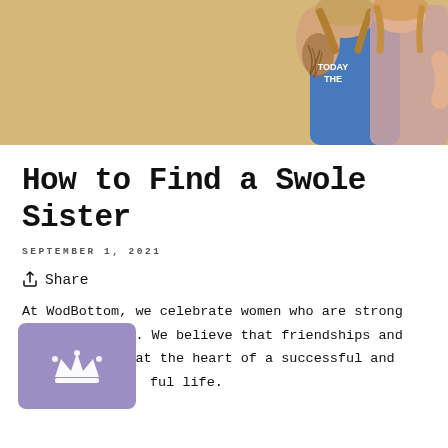[Figure (photo): Two women posing together against a golden/tan background. One wears a blue tank top with 'TODAY THE' text and has visible tattoos; the other wears a pink/mauve tank top. Cropped at the top showing them from roughly shoulders up.]
How to Find a Swole Sister
SEPTEMBER 1, 2021
Share
At WodBottom, we celebrate women who are strong inside and out. We believe that friendships and community are at the heart of a successful and meaningful life.
about Swole Sisters, how to find them, the